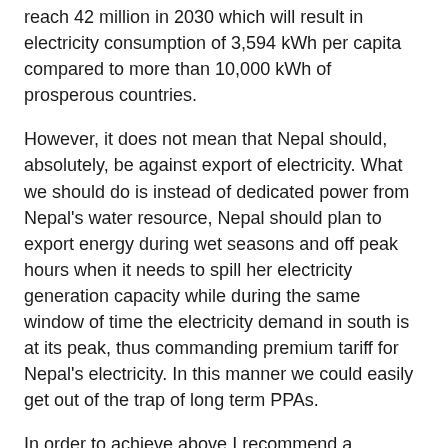reach 42 million in 2030 which will result in electricity consumption of 3,594 kWh per capita compared to more than 10,000 kWh of prosperous countries.
However, it does not mean that Nepal should, absolutely, be against export of electricity. What we should do is instead of dedicated power from Nepal's water resource, Nepal should plan to export energy during wet seasons and off peak hours when it needs to spill her electricity generation capacity while during the same window of time the electricity demand in south is at its peak, thus commanding premium tariff for Nepal's electricity. In this manner we could easily get out of the trap of long term PPAs.
In order to achieve above I recommend a mechanism under which Nepal should implement as many hydropower projects as possible with domestic investment so that investment linkaged benefit will stay in the country. This does not mean that we should close our doors to FDI. As long as the electricity is used for the benefit of the country who is investing in the project does not matter. My second recommendation is that Nepal should allow projects to be